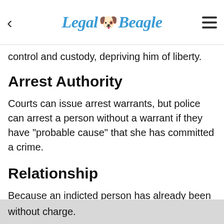Legal Beagle
control and custody, depriving him of liberty.
Arrest Authority
Courts can issue arrest warrants, but police can arrest a person without a warrant if they have "probable cause" that she has committed a crime.
Relationship
Because an indicted person has already been charged, he will be arrested. But an arrest based on probable cause doesn't necessarily result in charges, and many arrested people are freed without charge.